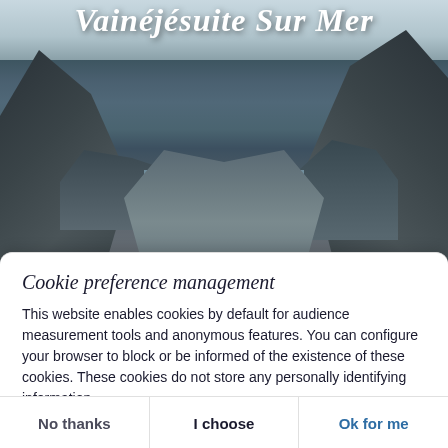[Figure (photo): Rocky coastal scene with large dark rocks framing a water channel leading to the sea, with text overlay in cursive script at the top reading what appears to be a website name]
Cookie preference management
This website enables cookies by default for audience measurement tools and anonymous features. You can configure your browser to block or be informed of the existence of these cookies. These cookies do not store any personally identifying information.
Read more
No thanks
I choose
Ok for me